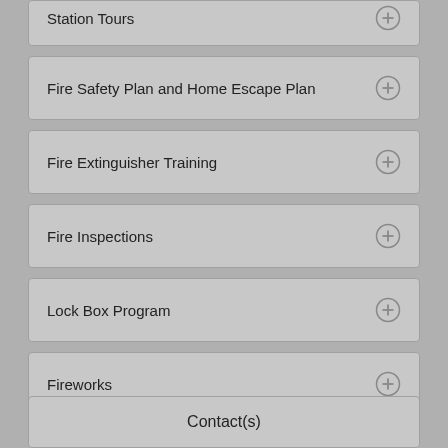Station Tours
Fire Safety Plan and Home Escape Plan
Fire Extinguisher Training
Fire Inspections
Lock Box Program
Fireworks
Contact(s)